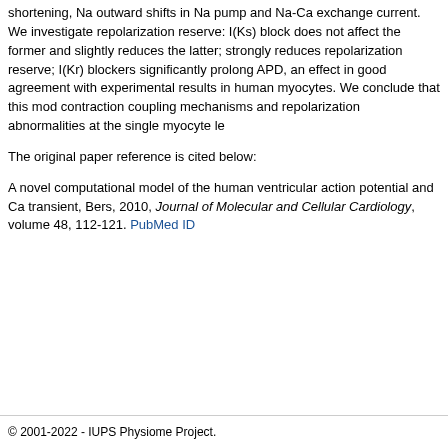shortening, Na outward shifts in Na pump and Na-Ca exchange current. We investigate repolarization reserve: I(Ks) block does not affect the former and slightly reduces the latter; strongly reduces repolarization reserve; I(Kr) blockers significantly prolong APD, an effect in good agreement with experimental results in human myocytes. We conclude that this model contraction coupling mechanisms and repolarization abnormalities at the single myocyte le
The original paper reference is cited below:
A novel computational model of the human ventricular action potential and Ca transient, Bers, 2010, Journal of Molecular and Cellular Cardiology, volume 48, 112-121. PubMed ID
© 2001-2022 - IUPS Physiome Project.